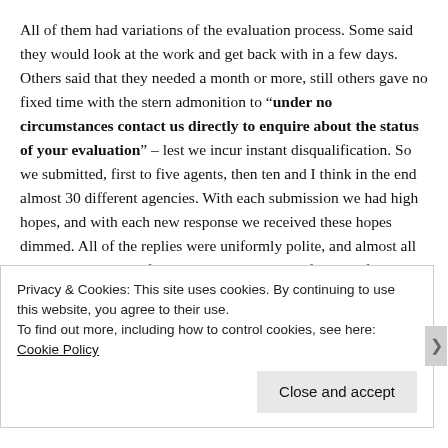All of them had variations of the evaluation process. Some said they would look at the work and get back with in a few days. Others said that they needed a month or more, still others gave no fixed time with the stern admonition to “under no circumstances contact us directly to enquire about the status of your evaluation” – lest we incur instant disqualification. So we submitted, first to five agents, then ten and I think in the end almost 30 different agencies. With each submission we had high hopes, and with each new response we received these hopes dimmed. All of the replies were uniformly polite, and almost all praised the quality of our writing and the significance of the work as a whole,
Privacy & Cookies: This site uses cookies. By continuing to use this website, you agree to their use.
To find out more, including how to control cookies, see here: Cookie Policy
Close and accept